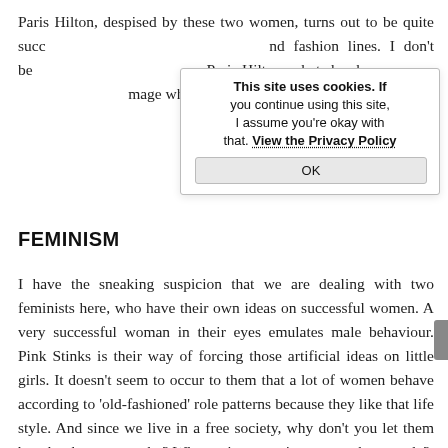Paris Hilton, despised by these two women, turns out to be quite successful in her business ventures and fashion lines. I don't believe we get to see the real Paris Hilton, what she shows us is a carefully crafted image which she uses for her business goals.
[Figure (screenshot): Cookie consent popup overlay with text: 'This site uses cookies. If you continue using this site, I assume you're okay with that. View the Privacy Policy' and an OK button.]
FEMINISM
I have the sneaking suspicion that we are dealing with two feminists here, who have their own ideas on successful women. A very successful woman in their eyes emulates male behaviour. Pink Stinks is their way of forcing those artificial ideas on little girls. It doesn't seem to occur to them that a lot of women behave according to 'old-fashioned' role patterns because they like that life style. And since we live in a free society, why don't you let them be who they want to be? Why project your issues on other people?